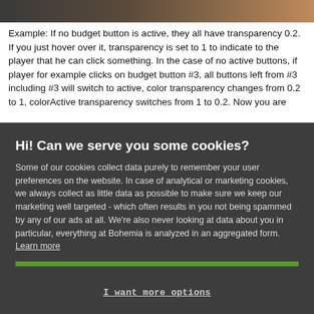[Figure (photo): Partial screenshot of a dark-toned game or application interface image strip at top]
Example: If no budget button is active, they all have transparency 0.2. If you just hover over it, transparency is set to 1 to indicate to the player that he can click something. In the case of no active buttons, if player for example clicks on budget button #3, all buttons left from #3 including #3 will switch to active, color transparency changes from 0.2 to 1, colorActive transparency switches from 1 to 0.2. Now you are
Hi! Can we serve you some cookies?
Some of our cookies collect data purely to remember your user preferences on the website. In case of analytical or marketing cookies, we always collect as little data as possible to make sure we keep our marketing well targeted - which often results in you not being spammed by any of our ads at all. We're also never looking at data about you in particular, everything at Bohemia is analyzed in an aggregated form. Learn more
Allow all cookies
I want more options